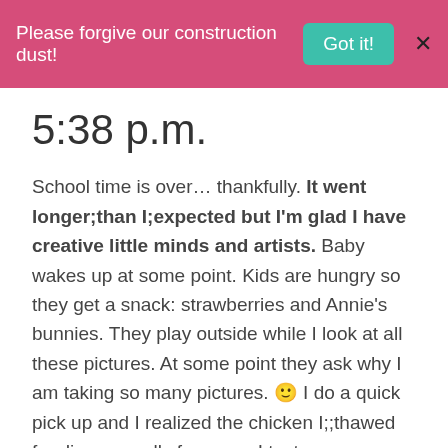Please forgive our construction dust!  Got it!  X
5:38 p.m.
School time is over… thankfully. It went longer;than I;expected but I'm glad I have creative little minds and artists. Baby wakes up at some point. Kids are hungry so they get a snack: strawberries and Annie's bunnies. They play outside while I look at all these pictures. At some point they ask why I am taking so many pictures. 😊 I do a quick pick up and I realized the chicken I;;thawed for dinner smells funny, so I text my husband.;